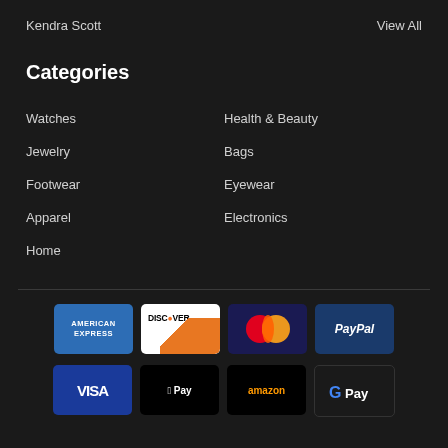Kendra Scott
View All
Categories
Watches
Health & Beauty
Jewelry
Bags
Footwear
Eyewear
Apparel
Electronics
Home
[Figure (logo): Payment method logos: American Express, Discover, MasterCard, PayPal, Visa, Apple Pay, Amazon Pay, Google Pay]